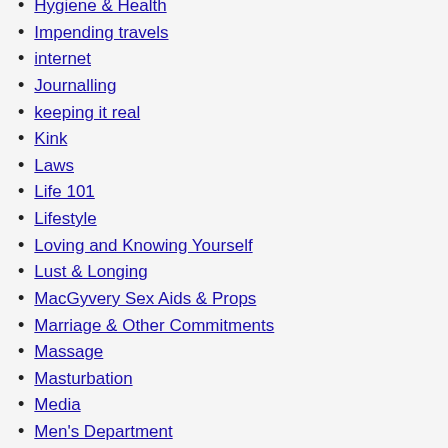Hygiene & Health
Impending travels
internet
Journalling
keeping it real
Kink
Laws
Life 101
Lifestyle
Loving and Knowing Yourself
Lust & Longing
MacGyvery Sex Aids & Props
Marriage & Other Commitments
Massage
Masturbation
Media
Men's Department
Misogyny
Modern Feminism
Modern pressures
money
Movie Reviews
Moving
Opinion (Editorial & Commentary)
Oral Sex